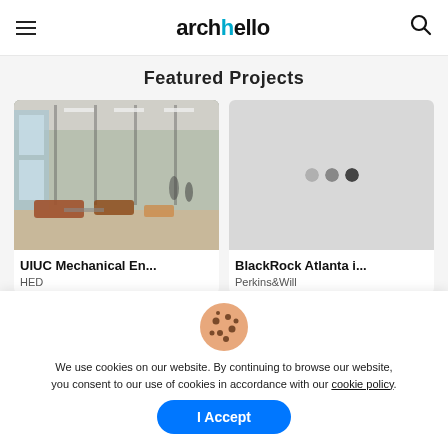archello
Featured Projects
[Figure (photo): Interior photo of UIUC Mechanical Engineering building showing open lounge area with seating and large windows]
UIUC Mechanical En...
HED
[Figure (other): Placeholder gray card with three dots indicating loading image for BlackRock Atlanta project]
BlackRock Atlanta i...
Perkins&Will
We use cookies on our website. By continuing to browse our website, you consent to our use of cookies in accordance with our cookie policy.
I Accept